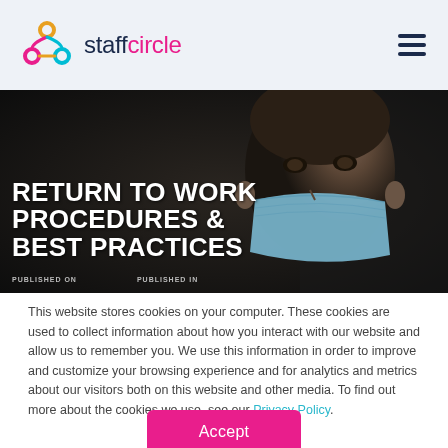staffcircle
[Figure (photo): A man wearing a blue surgical face mask, dark moody background. Hero banner image for 'Return to Work Procedures & Best Practices' article.]
RETURN TO WORK PROCEDURES & BEST PRACTICES
PUBLISHED ON  PUBLISHED IN
This website stores cookies on your computer. These cookies are used to collect information about how you interact with our website and allow us to remember you. We use this information in order to improve and customize your browsing experience and for analytics and metrics about our visitors both on this website and other media. To find out more about the cookies we use, see our Privacy Policy.
Accept